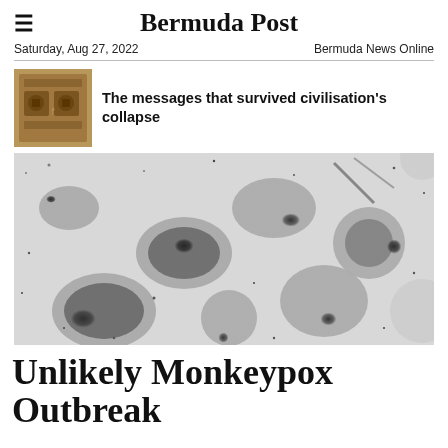Bermuda Post
Saturday, Aug 27, 2022	Bermuda News Online
[Figure (photo): Ancient carved stone tablet or relic]
The messages that survived civilisation's collapse
[Figure (photo): Electron microscope image of monkeypox virus particles — dark oval and round shapes on a light speckled background]
Unlikely Monkeypox Outbreak